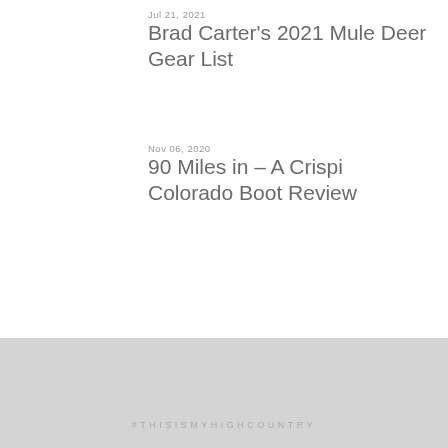Jul 21, 2021
Brad Carter's 2021 Mule Deer Gear List
Nov 06, 2020
90 Miles in – A Crispi Colorado Boot Review
#THISISMYHIGHCOUNTRY